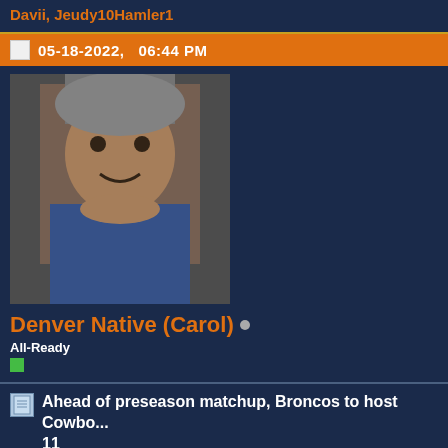Davii, Jeudy10Hamler1
05-18-2022,   06:44 PM
[Figure (photo): Avatar photo of forum user Denver Native (Carol) showing a person wearing a hat]
Denver Native (Carol) •
All-Ready
Ahead of preseason matchup, Broncos to host Cowboys for a joint practice on Thursday, Aug. 11
ENGLEWOOD, Colo. — The Broncos will officially welcome the Cowboys to Denver for a joint practice. Ahead of the two teams' preseason meeting on Saturday, Aug. 13, the Broncos invited the Cowboys for a joint practice on Thursday, Aug. 11. The practice session at UCHealth Training Center will be open to fans; tickets to the practice will be announced at a later date.